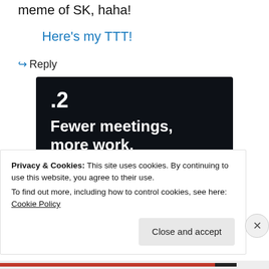meme of SK, haha!
Here's my TTT!
↪ Reply
[Figure (screenshot): Dark advertisement banner showing '.2' at top, bold white text 'Fewer meetings, more work.' and a 'Get started for free' button with rounded border on dark background.]
Privacy & Cookies: This site uses cookies. By continuing to use this website, you agree to their use.
To find out more, including how to control cookies, see here: Cookie Policy
Close and accept